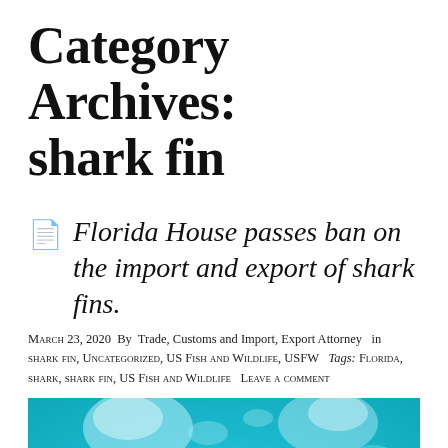Category Archives: shark fin
Florida House passes ban on the import and export of shark fins.
March 23, 2020  By  Trade, Customs and Import, Export Attorney   in  shark fin, Uncategorized, US Fish and Wildlife, USFW   Tags: Florida, shark, shark fin, US Fish and Wildlife   Leave a comment
[Figure (photo): Underwater photo of sharks swimming in blue water, viewed from below with light rays filtering through the surface.]